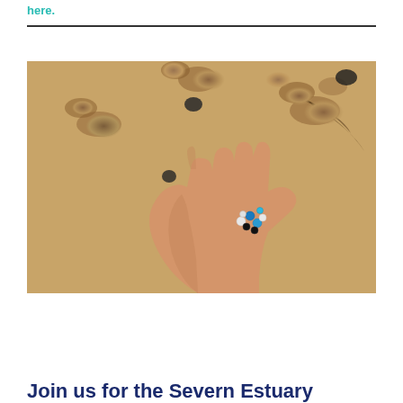here.
[Figure (photo): A hand held out palm-up on a sandy beach, holding several small colourful microplastic pellets. Footprints and dark pebbles are visible in the sand behind.]
Join us for the Severn Estuary